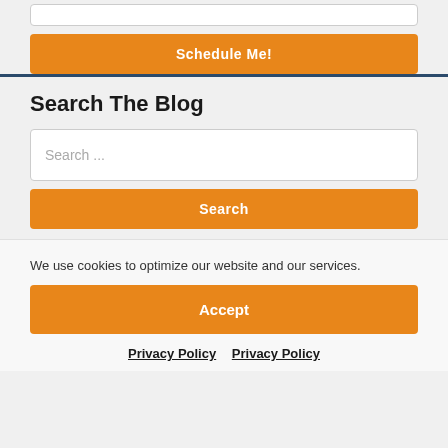Schedule Me!
Search The Blog
Search ...
Search
We use cookies to optimize our website and our services.
Accept
Privacy Policy   Privacy Policy